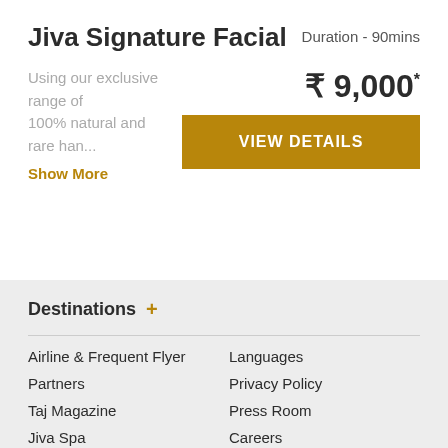Jiva Signature Facial
Duration - 90mins
Using our exclusive range of 100% natural and rare han...
Show More
₹ 9,000*
VIEW DETAILS
Destinations +
Airline & Frequent Flyer
Languages
Partners
Privacy Policy
Taj Magazine
Press Room
Jiva Spa
Careers